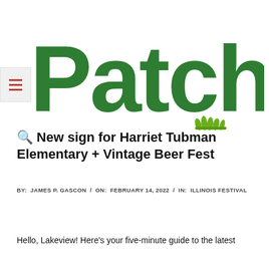[Figure (logo): Patch logo — large green rounded bold sans-serif text 'Patch' with a small grass tuft graphic below the 'ch', on white background. Hamburger menu icon (three red horizontal lines) in a light gray box to the left.]
🔍 New sign for Harriet Tubman Elementary + Vintage Beer Fest
BY: JAMES P. GASCON / ON: FEBRUARY 14, 2022 / IN: ILLINOIS FESTIVAL
Hello, Lakeview! Here's your five-minute guide to the latest